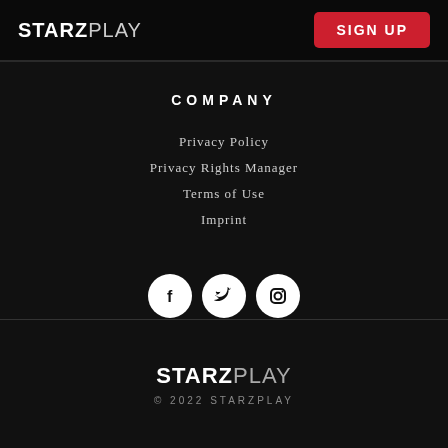STARZPLAY | SIGN UP
COMPANY
Privacy Policy
Privacy Rights Manager
Terms of Use
Imprint
[Figure (illustration): Three white circular social media icons: Facebook (f), Twitter (bird), Instagram (camera)]
STARZPLAY
© 2022 STARZPLAY